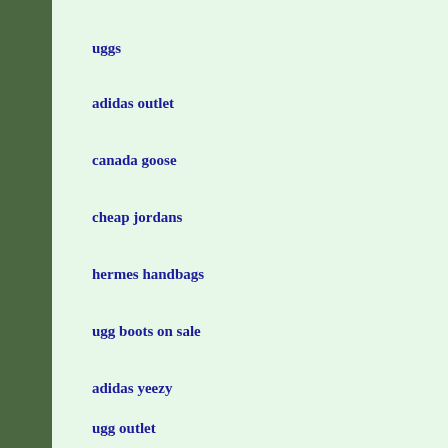uggs
adidas outlet
canada goose
cheap jordans
hermes handbags
ugg boots on sale
adidas yeezy
ugg outlet